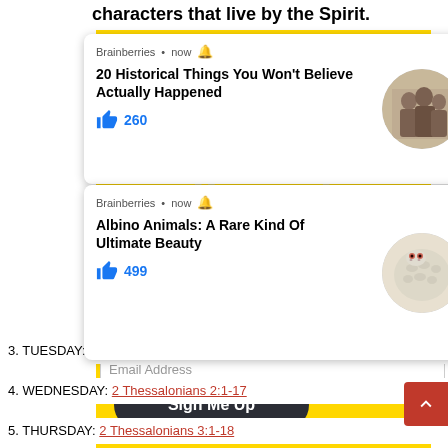characters that live by the Spirit.
[Figure (screenshot): Ad card from Brainberries: '20 Historical Things You Won't Believe Actually Happened' with 260 likes and a vintage photo of three women. Close button visible.]
[Figure (screenshot): Ad card from Brainberries: 'Albino Animals: A Rare Kind Of Ultimate Beauty' with 499 likes and a photo of an albino snake. Close button visible.]
Email Address
Sign Me Up
3. TUESDAY: 2 Thessalonians 1:1-12
4. WEDNESDAY: 2 Thessalonians 2:1-17
5. THURSDAY: 2 Thessalonians 3:1-18